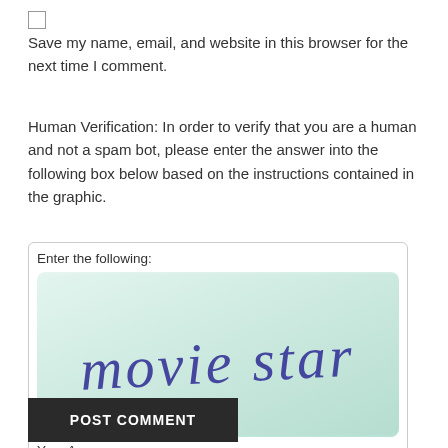[Figure (other): Checkbox (unchecked)]
Save my name, email, and website in this browser for the next time I comment.
Human Verification: In order to verify that you are a human and not a spam bot, please enter the answer into the following box below based on the instructions contained in the graphic.
[Figure (other): CAPTCHA widget showing 'movie star' text in a mint-green rounded box with 'Enter the following:' label, Your Answer input field, SOLVE media logo, and icon buttons (refresh, audio, help)]
POST COMMENT